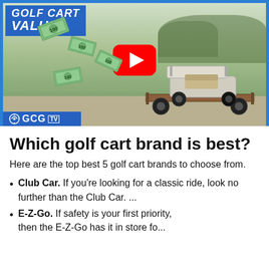[Figure (screenshot): YouTube video thumbnail showing a golf cart on a trailer with dollar bills flying around it. Text overlay reads 'GOLF CART VALUE?' in white on blue background. GCG TV logo in bottom left. YouTube play button in center.]
Which golf cart brand is best?
Here are the top best 5 golf cart brands to choose from.
Club Car. If you’re looking for a classic ride, look no further than the Club Car. ...
E-Z-Go. If safety is your first priority, then the E-Z-Go has it in store for ...